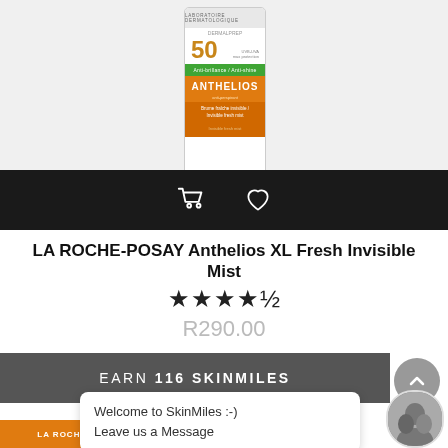[Figure (photo): LA Roche-Posay Anthelios XL Fresh Invisible Mist SPF 50 sunscreen bottle product photo on light grey background]
[Figure (screenshot): Black action bar with shopping cart icon and heart/wishlist icon]
LA ROCHE-POSAY Anthelios XL Fresh Invisible Mist
[Figure (other): Star rating: 4.5 out of 5 stars (4 full stars and 1 half star)]
R290.00
EARN 116 SkinMiles
Welcome to SkinMiles :-)
Leave us a Message